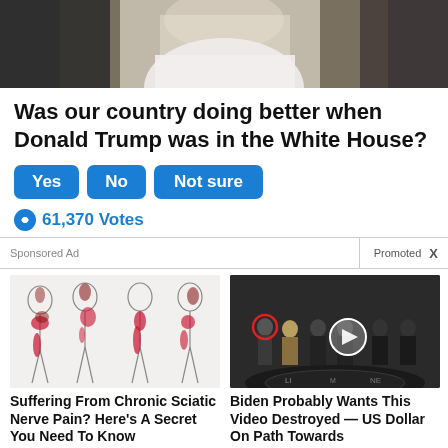[Figure (photo): Cropped photo of a person in a white shirt, partially visible from the shoulders up, dark background]
Was our country doing better when Donald Trump was in the White House?
Yes  No  Not sure
61,370 Votes
Sponsored Ad  Promoted X
[Figure (illustration): Medical illustration showing human body outlines with red highlighted areas indicating sciatic nerve pain regions]
Suffering From Chronic Sciatic Nerve Pain? Here's A Secret You Need To Know
80,199
[Figure (photo): Group of people in suits standing in formal setting, with red circle highlighting one person and white play button circle overlay, CIA logo visible on floor]
Biden Probably Wants This Video Destroyed — US Dollar On Path Towards Replacement?
500,639